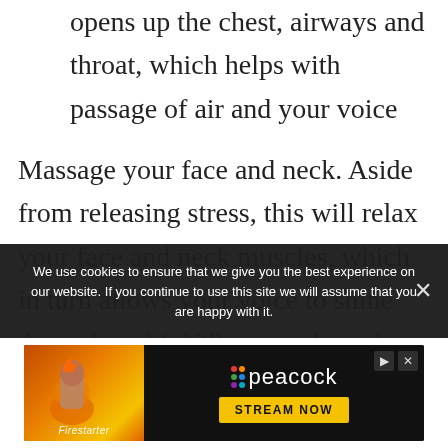opens up the chest, airways and throat, which helps with passage of air and your voice
Massage your face and neck. Aside from releasing stress, this will relax your face and neck muscles, which in turn allows your voice to shine through and fulfill your role with gusto. Finally, tongue twisters aid
We use cookies to ensure that we give you the best experience on our website. If you continue to use this site we will assume that you are happy with it.
[Figure (advertisement): Peacock streaming service advertisement featuring Firestarter movie promotion with 'STREAM NOW' button]